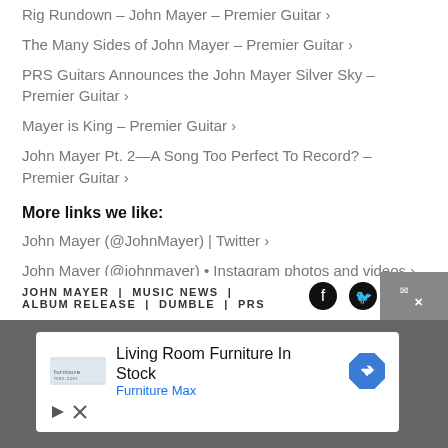Rig Rundown - John Mayer - Premier Guitar ›
The Many Sides of John Mayer - Premier Guitar ›
PRS Guitars Announces the John Mayer Silver Sky - Premier Guitar ›
Mayer is King - Premier Guitar ›
John Mayer Pt. 2—A Song Too Perfect To Record? - Premier Guitar ›
More links we like:
John Mayer (@JohnMayer) | Twitter ›
John Mayer (@johnmayer) • Instagram photos and videos ›
John Mayer | Official Website ›
JOHN MAYER | MUSIC NEWS | ALBUM RELEASE | DUMBLE | PRS
[Figure (infographic): Advertisement banner: Living Room Furniture In Stock - Furniture Max, with navigation arrow icon and ad controls]